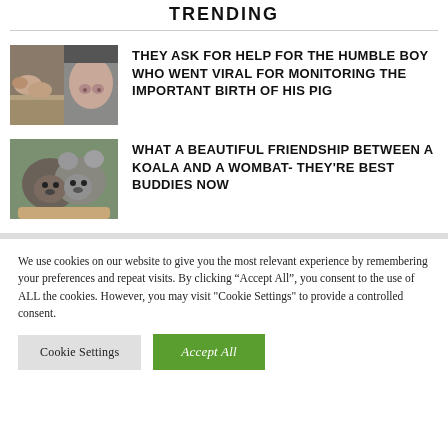TRENDING
[Figure (photo): Two photos side by side: piglets on straw and a close-up of a pig's snout]
THEY ASK FOR HELP FOR THE HUMBLE BOY WHO WENT VIRAL FOR MONITORING THE IMPORTANT BIRTH OF HIS PIG
[Figure (photo): A koala and a wombat cuddled together being held in hands]
WHAT A BEAUTIFUL FRIENDSHIP BETWEEN A KOALA AND A WOMBAT- THEY'RE BEST BUDDIES NOW
We use cookies on our website to give you the most relevant experience by remembering your preferences and repeat visits. By clicking “Accept All”, you consent to the use of ALL the cookies. However, you may visit "Cookie Settings" to provide a controlled consent.